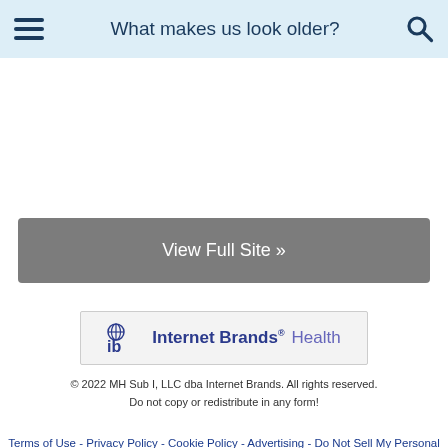What makes us look older?
View Full Site »
[Figure (logo): Internet Brands Health logo]
© 2022 MH Sub I, LLC dba Internet Brands. All rights reserved. Do not copy or redistribute in any form!
Terms of Use - Privacy Policy - Cookie Policy - Advertising - Do Not Sell My Personal Information - Terms of Service